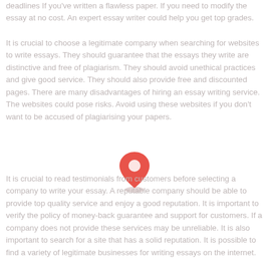deadlines If you've written a flawless paper. If you need to modify the essay at no cost. An expert essay writer could help you get top grades.
It is crucial to choose a legitimate company when searching for websites to write essays. They should guarantee that the essays they write are distinctive and free of plagiarism. They should avoid unethical practices and give good service. They should also provide free and discounted pages. There are many disadvantages of hiring an essay writing service. The websites could pose risks. Avoid using these websites if you don't want to be accused of plagiarising your papers.
[Figure (illustration): A red map pin/location marker icon with a shadow ellipse beneath it]
It is crucial to read testimonials from customers before selecting a company to write your essay. A reputable company should be able to provide top quality service and enjoy a good reputation. It is important to verify the policy of money-back guarantee and support for customers. If a company does not provide these services may be unreliable. It is also important to search for a site that has a solid reputation. It is possible to find a variety of legitimate businesses for writing essays on the internet.